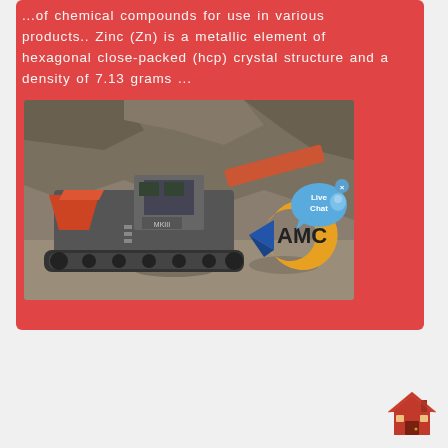...of chemical compounds for use in various products.. Zinc (Zn) is a metallic element of hexagonal close-packed (hcp) crystal structure and a density of 7.13 grams ...
[Figure (photo): A mobile mining crusher/screening machine on tracks in an open-pit quarry setting, with rocky terrain in the background. The AMC company logo (stylized C shape in gold and blue with 'AMC' text) is overlaid on the bottom right of the image. A 'Live Chat' speech bubble UI element is overlaid on the top right of the image.]
[Figure (illustration): A small house/home icon in red and brown colors, located in the bottom right corner of the page outside the red card.]